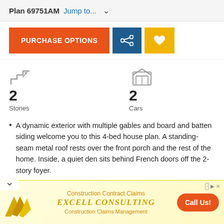Plan 69751AM  Jump to...
PURCHASE OPTIONS
2 Stories
2 Cars
A dynamic exterior with multiple gables and board and batten siding welcome you to this 4-bed house plan. A standing-seam metal roof rests over the front porch and the rest of the home. Inside, a quiet den sits behind French doors off the 2-story foyer.
Inside, the large great room with fireplace has a fireplace on side wall and sliding door access to the outside on the
[Figure (infographic): Advertisement banner for Excell Consulting showing company logo, text 'Construction Contract Claims', 'EXCELL CONSULTING', 'Construction Claims Management', and an orange 'Call Us!' button]